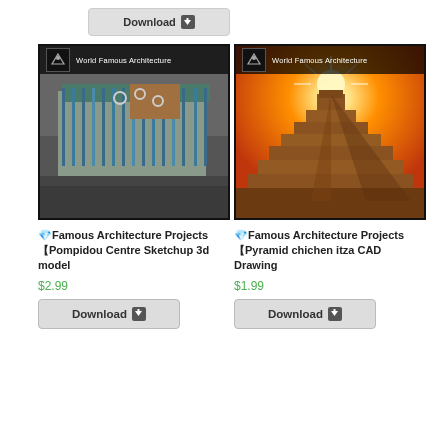[Figure (screenshot): Partial Download button visible at top left]
[Figure (photo): World Famous Architecture product image showing Pompidou Centre 3D model render, grey and teal aerial view of building]
💎 Famous Architecture Projects Pompidou Centre Sketchup 3d model
$2.99
[Figure (screenshot): Download button for Pompidou Centre product]
[Figure (photo): World Famous Architecture product image showing Pyramid Chichen Itza at sunset with orange sky and sun burst]
💎 Famous Architecture Projects Pyramid chichen itza CAD Drawing
$1.99
[Figure (screenshot): Download button for Pyramid Chichen Itza product]